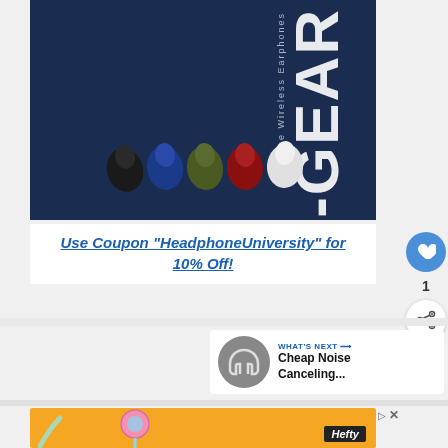[Figure (photo): Product photo of GEAR True Wireless Earphones on dark navy blue background. Shows text 'True Wireless Earphones' and 'GEAR' in large vertical letters. Five earbuds in different colors (black, blue, olive, red, white) are displayed at the bottom.]
Use Coupon "HeadphoneUniversity" for 10% Off!
[Figure (infographic): WHAT'S NEXT arrow label with headphone icon circle, followed by text: Cheap Noise Canceling...]
[Figure (photo): Advertisement banner with orange background showing a straw/tube shape and lollipop graphic, with Hefty brand logo in bottom right.]